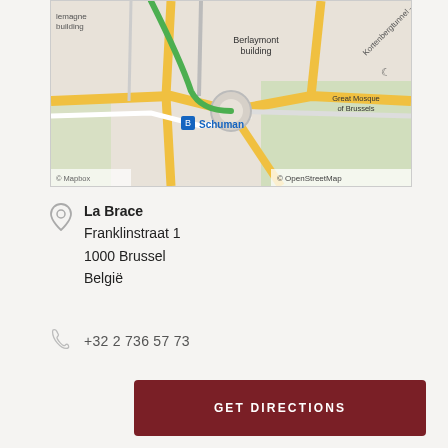[Figure (map): Street map showing Schuman area in Brussels with Berlaymont building, Kortenbergtunnel, Great Mosque of Brussels, yellow roads, and OpenStreetMap attribution]
La Brace
Franklinstraat 1
1000 Brussel
België
+32 2 736 57 73
GET DIRECTIONS
OPENING HOURS
Sunday    CLOSED
Monday    12:00 — 14:30